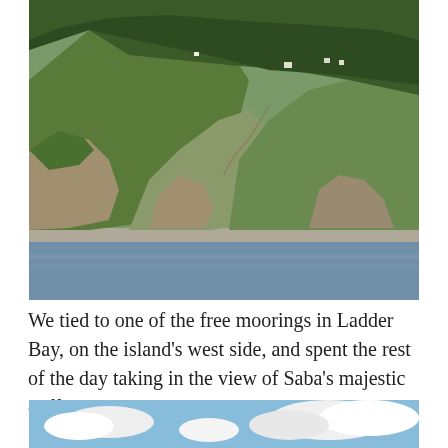[Figure (photo): Coastal cliffs of Saba island covered in green vegetation, viewed from the sea. Rocky outcroppings and steep hillside terrain with a calm blue sea in the foreground and buildings visible near the top of the hill.]
We tied to one of the free moorings in Ladder Bay, on the island's west side, and spent the rest of the day taking in the view of Saba's majestic cliffs, and rocky coastline.
[Figure (photo): Partial view of a blue sky with white clouds — bottom portion of another photograph.]